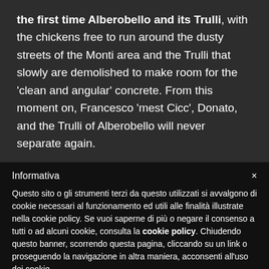the first time Alberobello and its Trulli, with the chickens free to run around the dusty streets of the Monti area and the Trulli that slowly are demolished to make room for the 'clean and angular' concrete. From this moment on, Francesco 'mest Cicc', Donato, and the Trulli of Alberobello will never separate again.
Informativa
Questo sito o gli strumenti terzi da questo utilizzati si avvalgono di cookie necessari al funzionamento ed utili alle finalità illustrate nella cookie policy. Se vuoi saperne di più o negare il consenso a tutti o ad alcuni cookie, consulta la cookie policy. Chiudendo questo banner, scorrendo questa pagina, cliccando su un link o proseguendo la navigazione in altra maniera, acconsenti all'uso dei cookie.